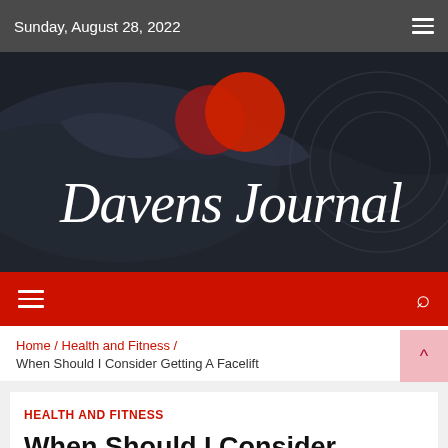Sunday, August 28, 2022
[Figure (logo): Davens Journal website banner with dark world map background, red circular logo marks, and cursive white text reading 'Davens Journal']
Home / Health and Fitness / When Should I Consider Getting A Facelift
HEALTH AND FITNESS
When Should I Consider Getting A